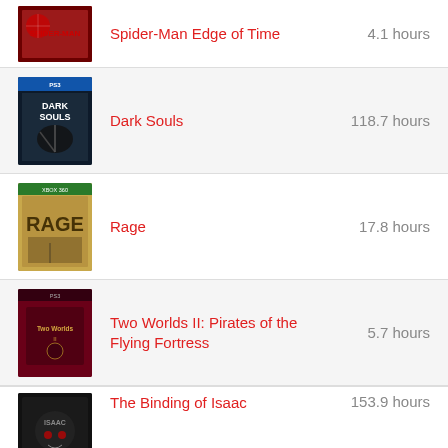Spider-Man Edge of Time — 4.1 hours
Dark Souls — 118.7 hours
Rage — 17.8 hours
Two Worlds II: Pirates of the Flying Fortress — 5.7 hours
The Binding of Isaac — 153.9 hours